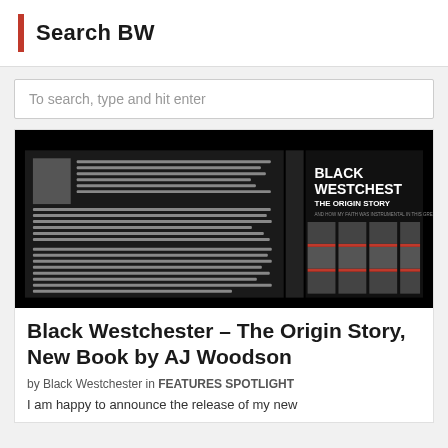Search BW
To search, type and hit enter
[Figure (photo): Book cover of 'Black Westchester – The Origin Story' by AJ Woodson, showing the book cover with text 'BLACK WESTCHEST THE ORIGIN STORY AND HOW MY FAITH WAS INSTRUMENTAL IN THIS GREAT' on a black background with newspaper collage images]
Black Westchester – The Origin Story, New Book by AJ Woodson
by Black Westchester in FEATURES SPOTLIGHT
I am happy to announce the release of my new